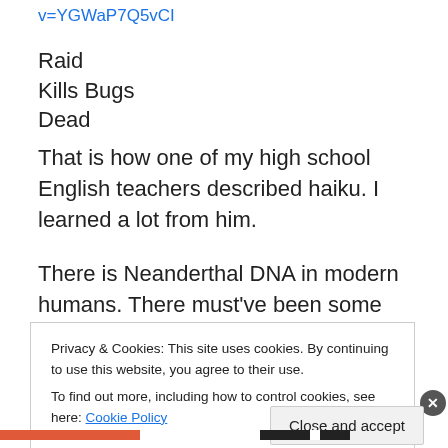v=YGWaP7Q5vCI
Raid
Kills Bugs
Dead
That is how one of my high school English teachers described haiku. I learned a lot from him.
There is Neanderthal DNA in modern humans. There must've been some interbreeding. Was it consensual? I have some doubts about how attractive the two groups would have found one another. Even in the absence of
Privacy & Cookies: This site uses cookies. By continuing to use this website, you agree to their use.
To find out more, including how to control cookies, see here: Cookie Policy
Close and accept